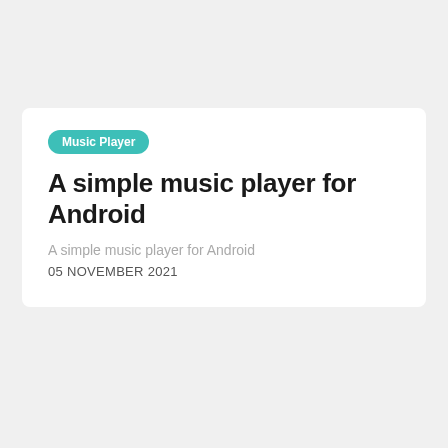Music Player
A simple music player for Android
A simple music player for Android
05 NOVEMBER 2021